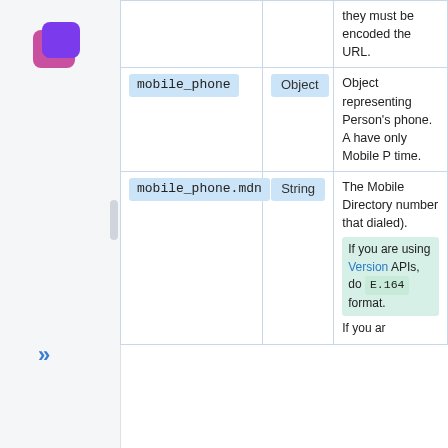[Figure (logo): Purple-pink chat bubble logo icon]
| Field | Type | Description |
| --- | --- | --- |
|  |  | they must be encoded the URL. |
| mobile_phone | Object | Object representing Person's phone. A have only Mobile P time. |
| mobile_phone.mdn | String | The Mobile Directory number that dialed). If you are using Version APIs, do E.164 format. If you are... |